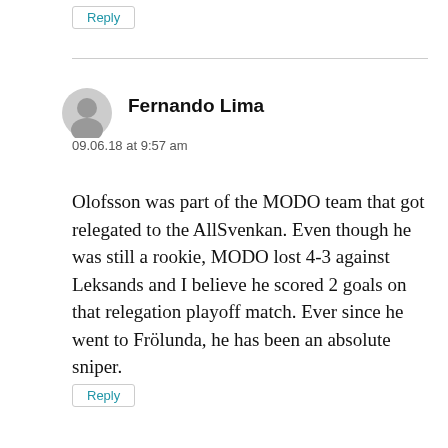Reply
Fernando Lima
09.06.18 at 9:57 am
Olofsson was part of the MODO team that got relegated to the AllSvenkan. Even though he was still a rookie, MODO lost 4-3 against Leksands and I believe he scored 2 goals on that relegation playoff match. Ever since he went to Frölunda, he has been an absolute sniper.
Reply